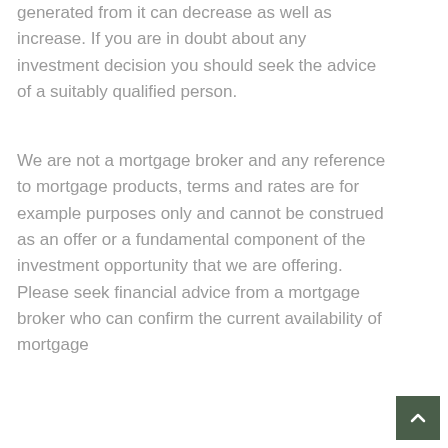generated from it can decrease as well as increase. If you are in doubt about any investment decision you should seek the advice of a suitably qualified person.
We are not a mortgage broker and any reference to mortgage products, terms and rates are for example purposes only and cannot be construed as an offer or a fundamental component of the investment opportunity that we are offering. Please seek financial advice from a mortgage broker who can confirm the current availability of mortgage